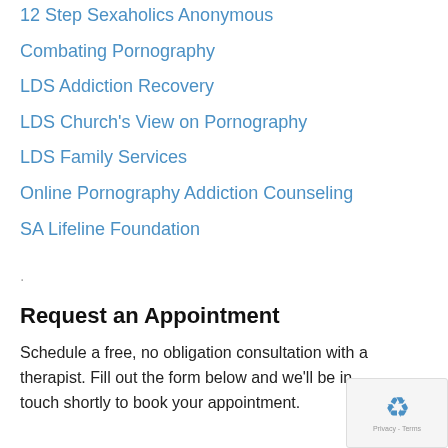12 Step Sexaholics Anonymous
Combating Pornography
LDS Addiction Recovery
LDS Church's View on Pornography
LDS Family Services
Online Pornography Addiction Counseling
SA Lifeline Foundation
.
Request an Appointment
Schedule a free, no obligation consultation with a therapist. Fill out the form below and we'll be in touch shortly to book your appointment.